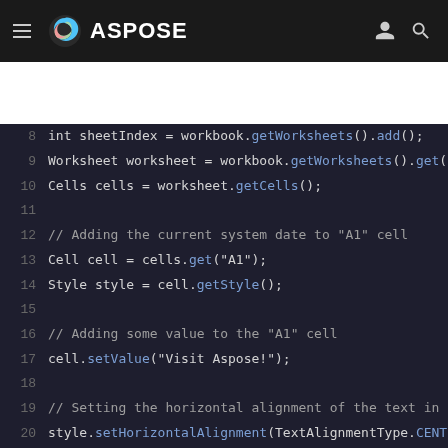ASPOSE
[Figure (screenshot): Code snippet showing Java code for Aspose Cells: adding current system date to A1 cell, setting style, value, horizontal alignment, and saving the workbook. Lines 8-25 visible.]